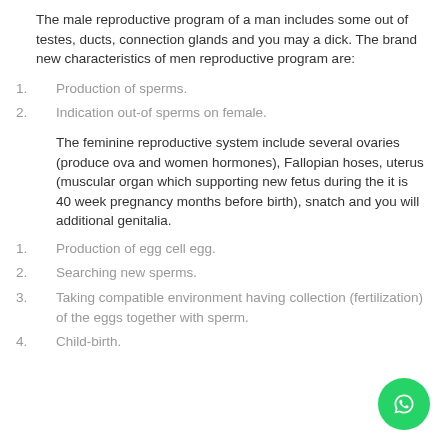The male reproductive program of a man includes some out of testes, ducts, connection glands and you may a dick. The brand new characteristics of men reproductive program are:
Production of sperms.
Indication out-of sperms on female.
The feminine reproductive system include several ovaries (produce ova and women hormones), Fallopian hoses, uterus (muscular organ which supporting new fetus during the it is 40 week pregnancy months before birth), snatch and you will additional genitalia.
Production of egg cell egg.
Searching new sperms.
Taking compatible environment having collection (fertilization) of the eggs together with sperm.
Child-birth.